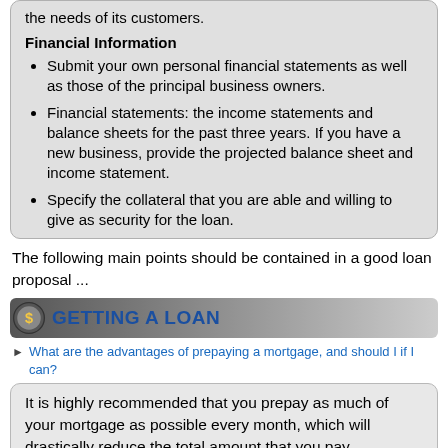the needs of its customers.
Financial Information
Submit your own personal financial statements as well as those of the principal business owners.
Financial statements: the income statements and balance sheets for the past three years. If you have a new business, provide the projected balance sheet and income statement.
Specify the collateral that you are able and willing to give as security for the loan.
The following main points should be contained in a good loan proposal ...
GETTING A LOAN
What are the advantages of prepaying a mortgage, and should I if I can?
It is highly recommended that you prepay as much of your mortgage as possible every month, which will drastically reduce the total amount that you pay.